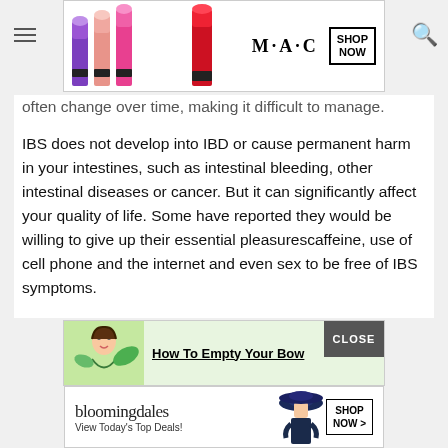[Figure (other): MAC cosmetics advertisement banner showing colorful lipsticks with SHOP NOW button]
often change over time, making it difficult to manage.
IBS does not develop into IBD or cause permanent harm in your intestines, such as intestinal bleeding, other intestinal diseases or cancer. But it can significantly affect your quality of life. Some have reported they would be willing to give up their essential pleasurescaffeine, use of cell phone and the internet and even sex to be free of IBS symptoms.
[Figure (other): Advertisement: How To Empty Your Bowel with a CLOSE button overlay]
[Figure (other): Bloomingdale's advertisement: View Today's Top Deals! with SHOP NOW button and woman in hat]